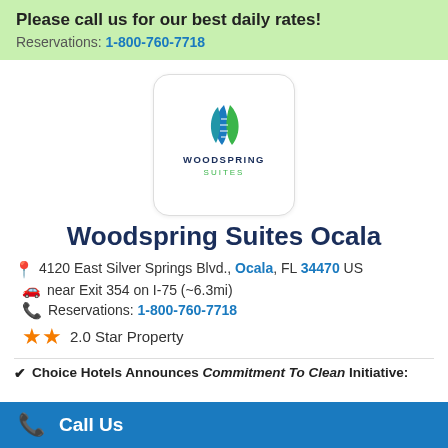Please call us for our best daily rates!
Reservations: 1-800-760-7718
[Figure (logo): WoodSpring Suites logo with leaf icon in blue and green]
Woodspring Suites Ocala
4120 East Silver Springs Blvd., Ocala, FL 34470 US
near Exit 354 on I-75 (~6.3mi)
Reservations: 1-800-760-7718
2.0 Star Property
Choice Hotels Announces Commitment To Clean Initiative:
Call Us